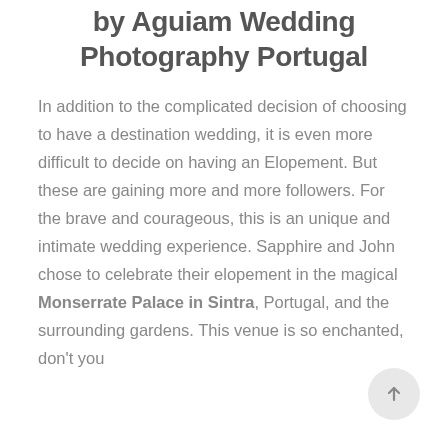by Aguiam Wedding Photography Portugal
In addition to the complicated decision of choosing to have a destination wedding, it is even more difficult to decide on having an Elopement. But these are gaining more and more followers. For the brave and courageous, this is an unique and intimate wedding experience. Sapphire and John chose to celebrate their elopement in the magical Monserrate Palace in Sintra, Portugal, and the surrounding gardens. This venue is so enchanted, don't you